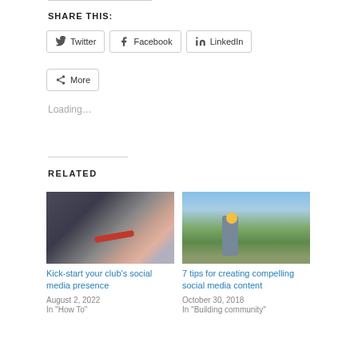SHARE THIS:
Twitter | Facebook | LinkedIn | More
Loading...
RELATED
[Figure (photo): Person's arm with red bracelet reaching toward a car window]
Kick-start your club's social media presence
August 2, 2022
In "How To"
[Figure (photo): Person outdoors in a garden with yellow gloves, spring setting]
7 tips for creating compelling social media content
October 30, 2018
In "Building community"